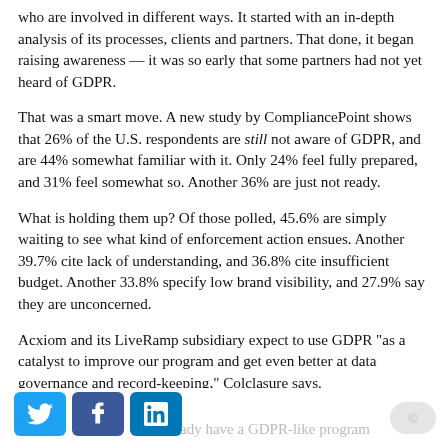who are involved in different ways. It started with an in-depth analysis of its processes, clients and partners. That done, it began raising awareness — it was so early that some partners had not yet heard of GDPR.
That was a smart move. A new study by CompliancePoint shows that 26% of the U.S. respondents are still not aware of GDPR, and are 44% somewhat familiar with it. Only 24% feel fully prepared, and 31% feel somewhat so. Another 36% are just not ready.
What is holding them up? Of those polled, 45.6% are simply waiting to see what kind of enforcement action ensues. Another 39.7% cite lack of understanding, and 36.8% cite insufficient budget. Another 33.8% specify low brand visibility, and 27.9% say they are unconcerned.
Acxiom and its LiveRamp subsidiary expect to use GDPR "as a catalyst to improve our program and get even better at data governance and record-keeping," Colclasure says.
ady have a GDPR-like program